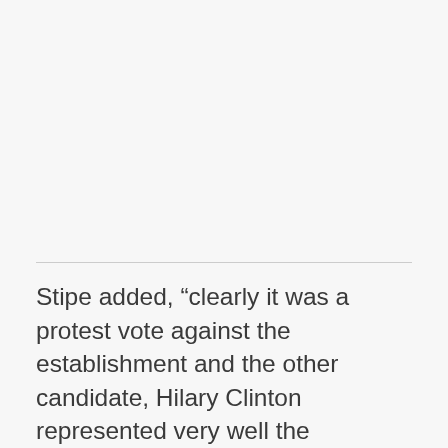Stipe added, “clearly it was a protest vote against the establishment and the other candidate, Hilary Clinton represented very well the establishment. Rather than people voting for a racist, xenophobic agenda, an intolerant agenda, I think they were just trying to smash the machine.”